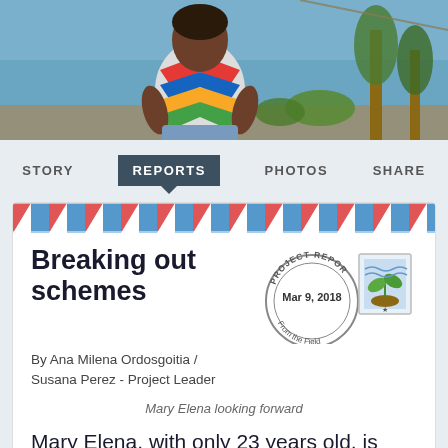[Figure (photo): Woman sitting outdoors in a colorful chevron-patterned top near beach/coastal area with trees and greenery in background]
STORY  REPORTS  PHOTOS  SHARE
[Figure (illustration): Airmail envelope border stripe with alternating red and blue diagonal stripes]
Breaking out schemes
[Figure (illustration): Project Report stamp dated Mar 9, 2018 From the Field, and a postage stamp with plant illustration]
By Ana Milena Ordosgoitia / Susana Perez - Project Leader
Mary Elena looking forward
Mary Elena, with only 23 years old, is making a difference in her hometown, Baru.